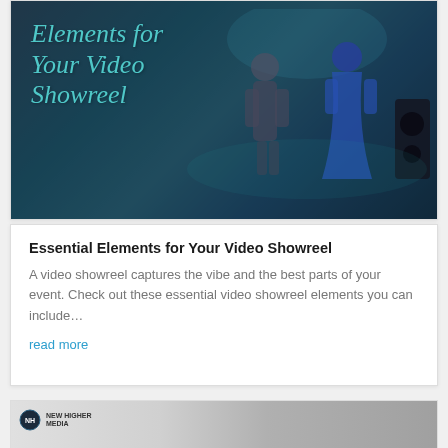[Figure (photo): Concert/event photo with two performers on stage, dark teal/blue atmospheric lighting, with handwritten-style text overlay reading 'Elements for Your Video Showreel']
Essential Elements for Your Video Showreel
A video showreel captures the vibe and the best parts of your event. Check out these essential video showreel elements you can include…
read more
[Figure (photo): Partial view of a second article card showing New Higher Media logo and a person at an indoor event]